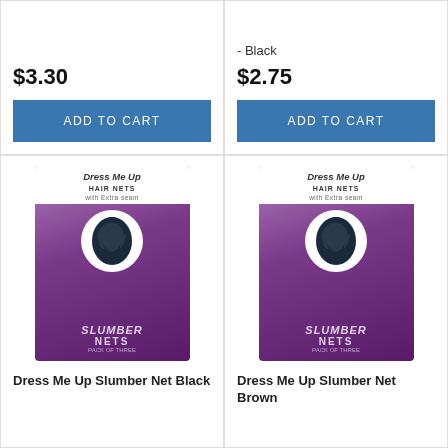$3.30
ADD TO CART
- Black
$2.75
ADD TO CART
[Figure (photo): Dress Me Up Hair Nets Slumber Nets package in purple with silhouette logo]
Dress Me Up Slumber Net Black
[Figure (photo): Dress Me Up Hair Nets Slumber Nets package in purple with silhouette logo]
Dress Me Up Slumber Net Brown